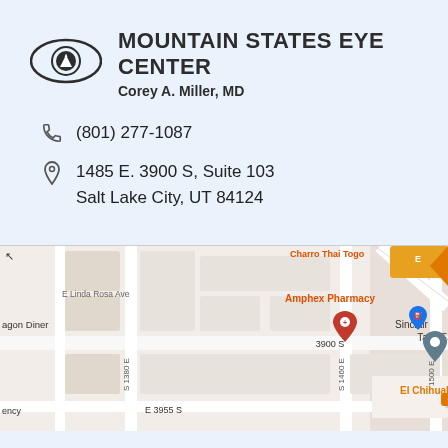[Figure (logo): Mountain States Eye Center logo — stylized eye icon with a mountain/snow peak inside the pupil]
MOUNTAIN STATES EYE CENTER
Corey A. Miller, MD
(801) 277-1087
1485 E. 3900 S, Suite 103
Salt Lake City, UT 84124
[Figure (map): Google Maps screenshot showing the area around 1485 E 3900 S, Salt Lake City. Shows streets including E Linda Rosa Ave, 3900 S, E 3955 S, S 1380 E, S 1460 E, 1500 E. Nearby businesses labeled include Amphex Pharmacy (red pin), Task Easy (blue pin), Sinclair (blue pin with gas icon), El Chihuahua (orange pin), and partial labels for Charro Thai Togo and dragon Diner and ency.]